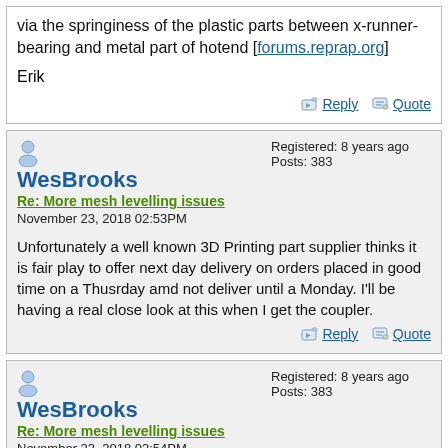via the springiness of the plastic parts between x-runner- bearing and metal part of hotend [forums.reprap.org]
Erik
Reply   Quote
WesBrooks
Re: More mesh levelling issues
November 23, 2018 02:53PM
Registered: 8 years ago
Posts: 383
Unfortunately a well known 3D Printing part supplier thinks it is fair play to offer next day delivery on orders placed in good time on a Thusrday amd not deliver until a Monday. I'll be having a real close look at this when I get the coupler.
Reply   Quote
WesBrooks
Re: More mesh levelling issues
November 23, 2018 02:54PM
Registered: 8 years ago
Posts: 383